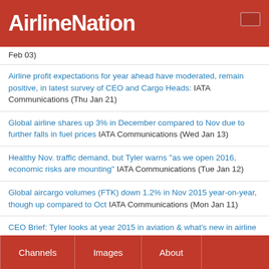AirlineNation
Feb 03)
Airline profit expectations for year ahead have moderated, remain positive, in latest survey of CEO and Cargo Heads: IATA Communications (Thu Jan 21)
Global airline shares up 3% in December compared to Nov due to further falls in fuel prices IATA Communications (Wed Jan 13)
Healthy Nov. traffic demand, but Tyler warns "as we open 2016, economic risks are mounting" IATA Communications (Tue Jan 12)
Global aircargo volumes (FTK) down 1.2% in Nov 2015 year-on-year, though up compared to Oct IATA Communications (Mon Jan 11)
CEO Brief: Tyler looks at year 2015 in aviation & what's new in airline distribution, security & IATA Communications (Wed Dec 30)
Pax traffic rose 4.5% in Oct, supported by within Europe market & transatlantic N.Atlantic ULH & ...
Channels   Images   About